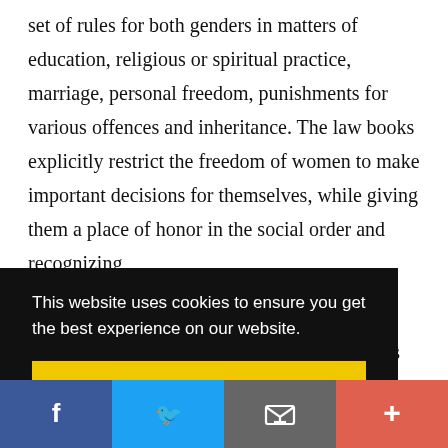set of rules for both genders in matters of education, religious or spiritual practice, marriage, personal freedom, punishments for various offences and inheritance. The law books explicitly restrict the freedom of women to make important decisions for themselves, while giving them a place of honor in the social order and recognizing
This website uses cookies to ensure you get the best experience on our website.
Got it!
[Figure (other): Social media sharing bar with Facebook, Twitter, email, and plus buttons]